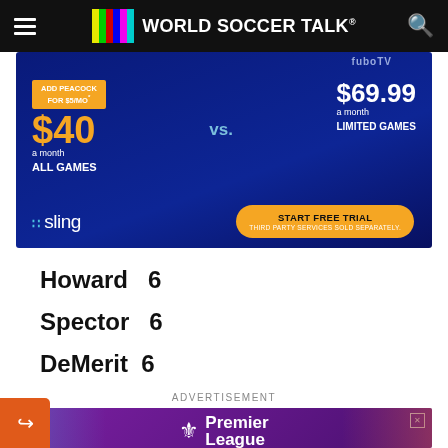World Soccer Talk
[Figure (photo): Sling TV advertisement showing ADD PEACOCK FOR $5/MO*, $40 a month ALL GAMES vs. fuboTV $69.99 a month LIMITED GAMES, with START FREE TRIAL button]
Howard  6
Spector  6
DeMerit  6
ADVERTISEMENT
[Figure (photo): Premier League advertisement showing two soccer players, SEASON BEGINS AUG 5]